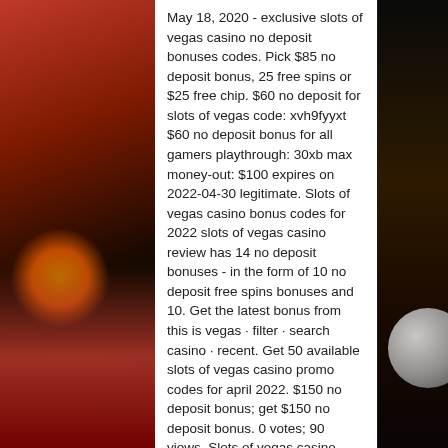May 18, 2020 - exclusive slots of vegas casino no deposit bonuses codes. Pick $85 no deposit bonus, 25 free spins or $25 free chip. $60 no deposit for slots of vegas code: xvh9fyyxt $60 no deposit bonus for all gamers playthrough: 30xb max money-out: $100 expires on 2022-04-30 legitimate. Slots of vegas casino bonus codes for 2022 slots of vegas casino review has 14 no deposit bonuses - in the form of 10 no deposit free spins bonuses and 10. Get the latest bonus from this is vegas · filter · search casino · recent. Get 50 available slots of vegas casino promo codes for april 2022. $150 no deposit bonus; get $150 no deposit bonus. 0 votes; 90 views. Slots of vegas casino bonus codes. Get 25 bonus spins upon registration, no deposit bonus with the bonus code: libre25. 400% match bonus +. Slots &amp; keno 5x
[Figure (photo): Left side decorative image: dark background with orange/red glow and red tones, casino themed]
[Figure (photo): Right side decorative image: dark background with a gray sphere/ball visible at bottom]